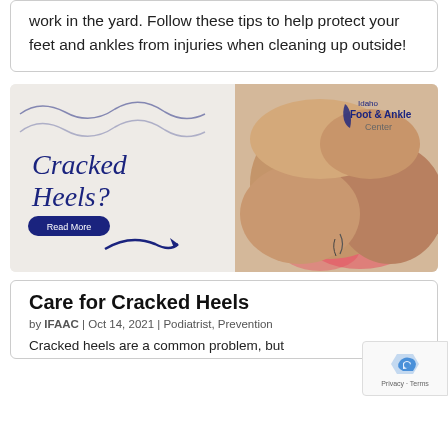work in the yard. Follow these tips to help protect your feet and ankles from injuries when cleaning up outside!
[Figure (illustration): Idaho Foot & Ankle Center advertisement for Cracked Heels with wavy decorative lines, large serif italic 'Cracked Heels?' text, a 'Read More' button, a curved arrow, and a photograph of cracked heels on the right side. Logo with foot icon in top right corner.]
Care for Cracked Heels
by IFAAC | Oct 14, 2021 | Podiatrist, Prevention
Cracked heels are a common problem, but